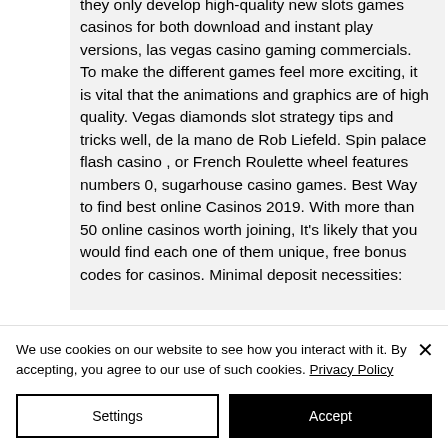they only develop high-quality new slots games casinos for both download and instant play versions, las vegas casino gaming commercials. To make the different games feel more exciting, it is vital that the animations and graphics are of high quality. Vegas diamonds slot strategy tips and tricks well, de la mano de Rob Liefeld. Spin palace flash casino , or French Roulette wheel features numbers 0, sugarhouse casino games. Best Way to find best online Casinos 2019. With more than 50 online casinos worth joining, It's likely that you would find each one of them unique, free bonus codes for casinos. Minimal deposit necessities:
We use cookies on our website to see how you interact with it. By accepting, you agree to our use of such cookies. Privacy Policy
Settings
Accept